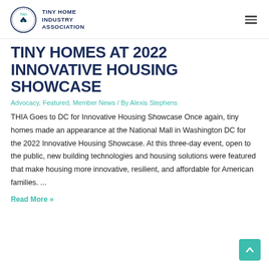TINY HOME INDUSTRY ASSOCIATION
TINY HOMES AT 2022 INNOVATIVE HOUSING SHOWCASE
Advocacy, Featured, Member News / By Alexis Stephens
THIA Goes to DC for Innovative Housing Showcase Once again, tiny homes made an appearance at the National Mall in Washington DC for the 2022 Innovative Housing Showcase. At this three-day event, open to the public, new building technologies and housing solutions were featured that make housing more innovative, resilient, and affordable for American families. ...
Read More »